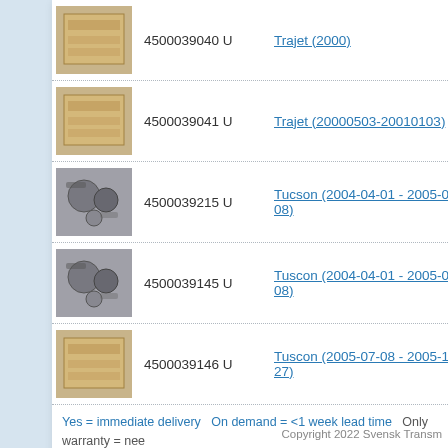| Image | Part Number | Fitment |
| --- | --- | --- |
| [box image] | 4500039040 U | Trajet (2000) |
| [box image] | 4500039041 U | Trajet (20000503-20010103) |
| [parts image] | 4500039215 U | Tucson (2004-04-01 - 2005-07-08) |
| [parts image] | 4500039145 U | Tuscon (2004-04-01 - 2005-07-08) |
| [box image] | 4500039146 U | Tuscon (2005-07-08 - 2005-10-27) |
Yes = immediate delivery On demand = <1 week lead time Only warranty = need
* All prices are recommended retail price in SEK, VAT and shipping excluded.
Copyright 2022 Svensk Transm